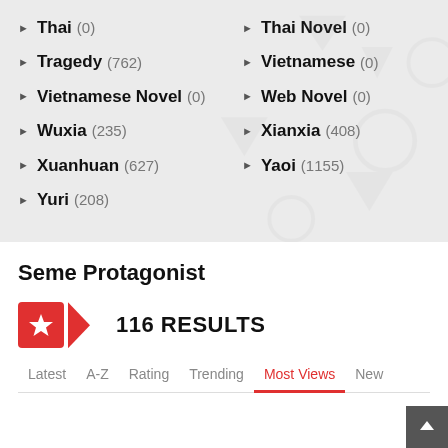Thai (0)
Thai Novel (0)
Tragedy (762)
Vietnamese (0)
Vietnamese Novel (0)
Web Novel (0)
Wuxia (235)
Xianxia (408)
Xuanhuan (627)
Yaoi (1155)
Yuri (208)
Seme Protagonist
116 RESULTS
Latest  A-Z  Rating  Trending  Most Views  New